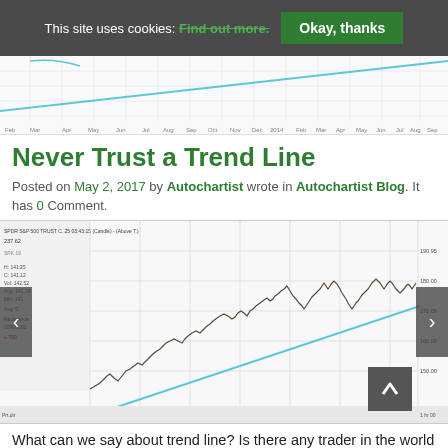This site uses cookies: Find out more.  Okay, thanks
[Figure (continuous-plot): Top strip of a financial chart showing an upward-sloping blue trend line on a price chart with time axis labels (Feb, Mar, Apr, May, Jun, Jul, Aug, Sep, Oct, Nov, Dec, 2014, Feb, Mar, Apr, May, Jun, Jul, Aug, Sep, Oct, Nov, Dec, 2015, Feb, Mar, Apr)]
Never Trust a Trend Line
Posted on May 2, 2017 by Autochartist wrote in Autochartist Blog. It has 0 Comment.
[Figure (continuous-plot): Main financial chart for S&P 500 Trust ETF showing price candlestick/line data with an upward-sloping blue trend line from bottom-left to bottom-right. The price action rises above the trend line. Chart spans multiple years. Left panel shows price data and legend info. Left and right navigation arrows visible. Scroll-to-top button in lower right.]
What can we say about trend line? Is there any trader in the world that